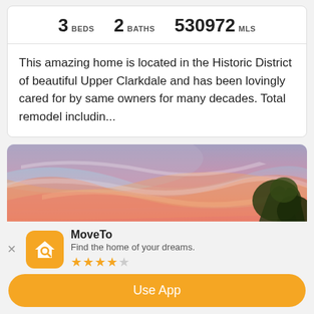3 BEDS   2 BATHS   530972 MLS
This amazing home is located in the Historic District of beautiful Upper Clarkdale and has been lovingly cared for by same owners for many decades. Total remodel includin...
[Figure (photo): Sunset sky with pink and orange clouds, tree silhouettes in the lower right, and a dark structure/rooftop visible in the lower center.]
MoveTo
Find the home of your dreams.
★★★★☆
Use App